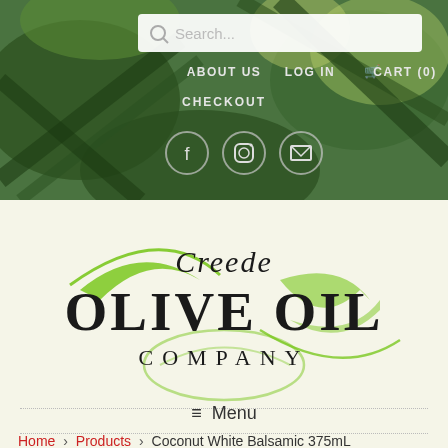[Figure (screenshot): Website header with green plant/leaf background, search bar, navigation links (ABOUT US, LOG IN, CART (0), CHECKOUT), and social media icons (Facebook, Instagram, email)]
[Figure (logo): Creede Olive Oil Company logo with green swoosh/leaf design and black serif text]
≡  Menu
Home › Products › Coconut White Balsamic 375mL